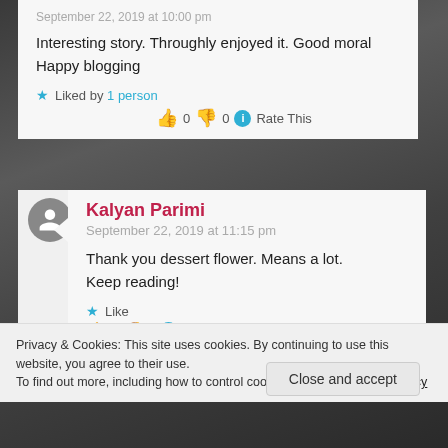September 22, 2019 at 10:00 pm
Interesting story. Throughly enjoyed it. Good moral
Happy blogging
Liked by 1 person  👍 0 👎 0 ℹ Rate This
Kalyan Parimi
September 22, 2019 at 11:15 pm
Thank you dessert flower. Means a lot. Keep reading!
Like  👍 0 👎 0 ℹ Rate This
Privacy & Cookies: This site uses cookies. By continuing to use this website, you agree to their use.
To find out more, including how to control cookies, see here: Cookie Policy
Close and accept